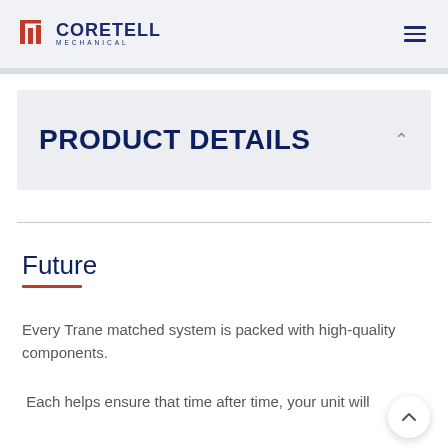CORETELL MECHANICAL
PRODUCT DETAILS
Future
Every Trane matched system is packed with high-quality components.
Each helps ensure that time after time, your unit will provide total comfort your family can rely on.